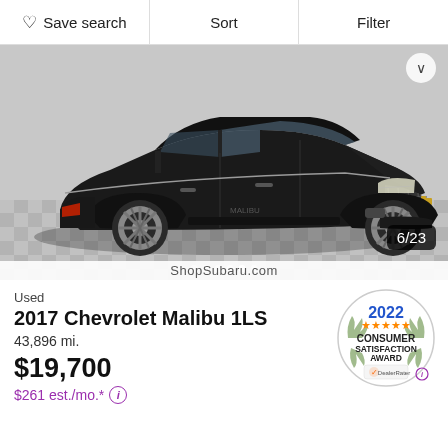Save search  Sort  Filter
[Figure (photo): Black 2017 Chevrolet Malibu 1LS sedan shown at 3/4 front angle on checkered tile floor in dealership showroom. Photo counter shows 6/23.]
Used
2017 Chevrolet Malibu 1LS
43,896 mi.
$19,700
$261 est./mo.* ⓘ
[Figure (logo): 2022 Consumer Satisfaction Award badge from DealerRater with orange stars]